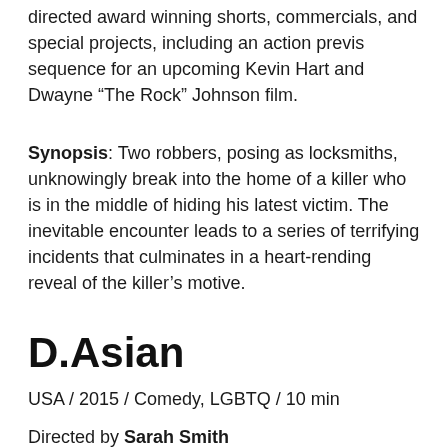directed award winning shorts, commercials, and special projects, including an action previs sequence for an upcoming Kevin Hart and Dwayne “The Rock” Johnson film.
Synopsis: Two robbers, posing as locksmiths, unknowingly break into the home of a killer who is in the middle of hiding his latest victim. The inevitable encounter leads to a series of terrifying incidents that culminates in a heart-rending reveal of the killer’s motive.
D.Asian
USA / 2015 / Comedy, LGBTQ / 10 min
Directed by Sarah Smith
Sarah Smith is a filmmaker and reality producer based in Los Angeles. She’s written for The Young & The Restless where she